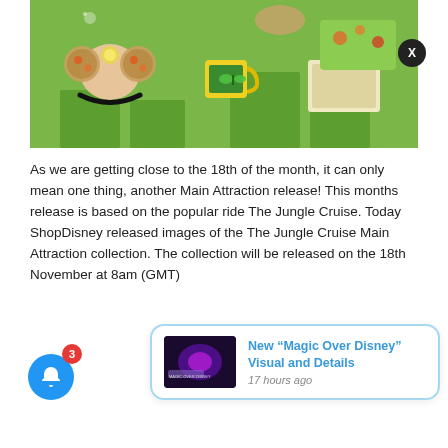[Figure (photo): Photo of Disney Jungle Cruise Main Attraction merchandise collection including Minnie Mouse ears headband with floral pattern, yellow mug, floral print pouch/box, and a framed picture, all displayed on green pedestals against a green background.]
As we are getting close to the 18th of the month, it can only mean one thing, another Main Attraction release! This months release is based on the popular ride The Jungle Cruise. Today ShopDisney released images of the The Jungle Cruise Main Attraction collection. The collection will be released on the 18th November at 8am (GMT)
[Figure (screenshot): Notification popup with thumbnail image of Magic Over Disney visual (purple/pink neon lights), title 'New "Magic Over Disney" Visual and Details', timestamp '17 hours ago', with X close button and blue bell notification button with red badge showing 3.]